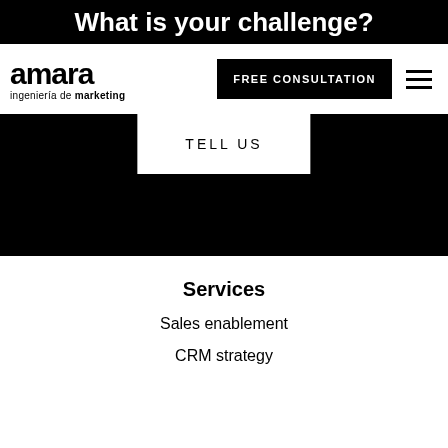What is your challenge?
[Figure (logo): Amara logo with text 'amara ingeniería de marketing']
FREE CONSULTATION
TELL US
Services
Sales enablement
CRM strategy